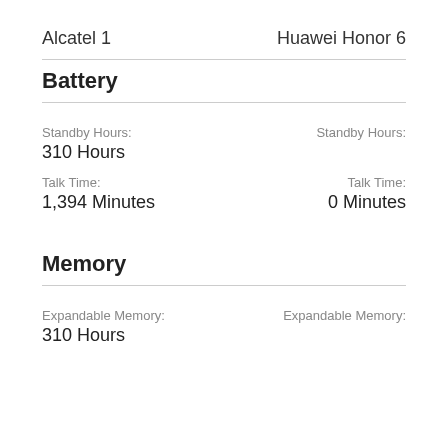Alcatel 1
Huawei Honor 6
Battery
Standby Hours:
310 Hours
Standby Hours:
Talk Time:
1,394 Minutes
Talk Time:
0 Minutes
Memory
Expandable Memory:
310 Hours
Expandable Memory: